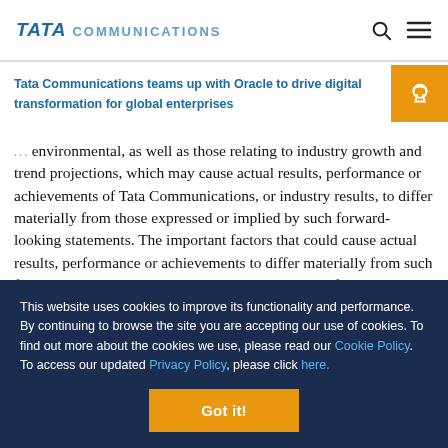TATA COMMUNICATIONS
Tata Communications teams up with Oracle to drive digital transformation for global enterprises
environmental, as well as those relating to industry growth and trend projections, which may cause actual results, performance or achievements of Tata Communications, or industry results, to differ materially from those expressed or implied by such forward-looking statements. The important factors that could cause actual results, performance or achievements to differ materially from such forward-looking statements include, among others, failure to increase the
This website uses cookies to improve its functionality and performance. By continuing to browse the site you are accepting our use of cookies. To find out more about the cookies we use, please read our Cookie Policy. To access our updated Privacy Policy, please click here.